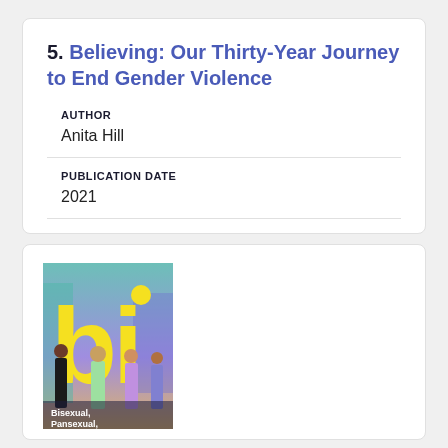5. Believing: Our Thirty-Year Journey to End Gender Violence
AUTHOR
Anita Hill
PUBLICATION DATE
2021
[Figure (illustration): Book cover for 'bi: Bisexual, Pansexual, Fluid, and Nonbinary Youth' featuring large yellow 'bi' letters over a colorful background with people walking, and subtitle text at the bottom.]